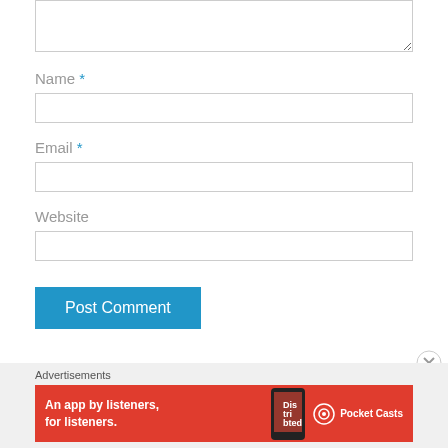[textarea top]
Name *
[Figure (screenshot): Name input field]
Email *
[Figure (screenshot): Email input field]
Website
[Figure (screenshot): Website input field]
Post Comment
Advertisements
[Figure (screenshot): Pocket Casts ad banner: An app by listeners, for listeners.]